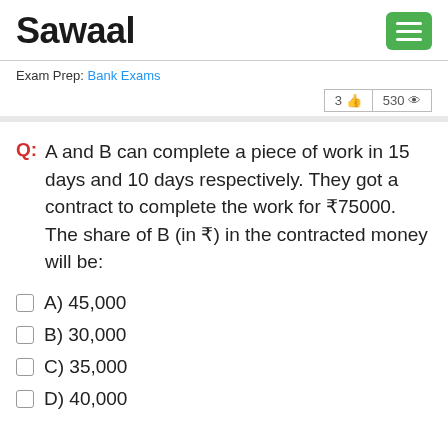Sawaal
Exam Prep: Bank Exams
3 👍  530 👁
Q: A and B can complete a piece of work in 15 days and 10 days respectively. They got a contract to complete the work for ₹75000. The share of B (in ₹) in the contracted money will be:
A) 45,000
B) 30,000
C) 35,000
D) 40,000